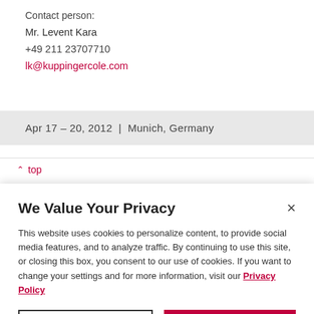Contact person:
Mr. Levent Kara
+49 211 23707710
lk@kuppingercole.com
Apr 17 – 20, 2012  |  Munich, Germany
↑ top
We Value Your Privacy
This website uses cookies to personalize content, to provide social media features, and to analyze traffic. By continuing to use this site, or closing this box, you consent to our use of cookies. If you want to change your settings and for more information, visit our Privacy Policy